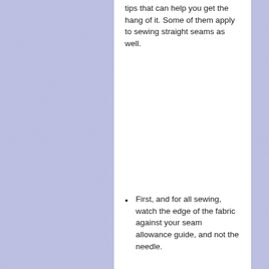tips that can help you get the hang of it. Some of them apply to sewing straight seams as well.
First, and for all sewing, watch the edge of the fabric against your seam allowance guide, and not the needle.